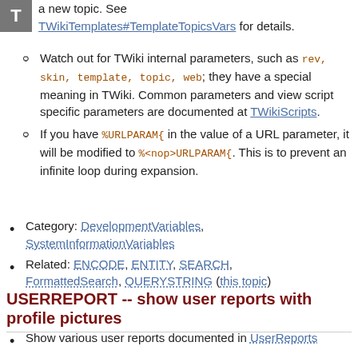[Figure (logo): Gray square icon with letter T]
a new topic. See TWikiTemplates#TemplateTopicsVars for details.
Watch out for TWiki internal parameters, such as rev, skin, template, topic, web; they have a special meaning in TWiki. Common parameters and view script specific parameters are documented at TWikiScripts.
If you have %URLPARAM{ in the value of a URL parameter, it will be modified to %<nop>URLPARAM{. This is to prevent an infinite loop during expansion.
Category: DevelopmentVariables, SystemInformationVariables
Related: ENCODE, ENTITY, SEARCH, FormattedSearch, QUERYSTRING (this topic)
USERREPORT -- show user reports with profile pictures
Show various user reports documented in UserReports
Syntax: %USERREPORT{ action="..." ... }%
Overview of actions with parameters: